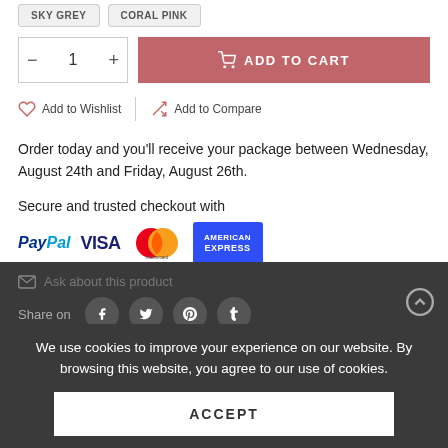SKY GREY | CORAL PINK
– 1 + ADD TO CART
Add to Wishlist  Add to Compare
Order today and you'll receive your package between Wednesday, August 24th and Friday, August 26th.
Secure and trusted checkout with
[Figure (logo): Payment logos: PayPal, VISA, Mastercard, American Express]
Ask about this product
Share on (Facebook, Twitter, Pinterest, Tumblr)
We use cookies to improve your experience on our website. By browsing this website, you agree to our use of cookies.
ACCEPT